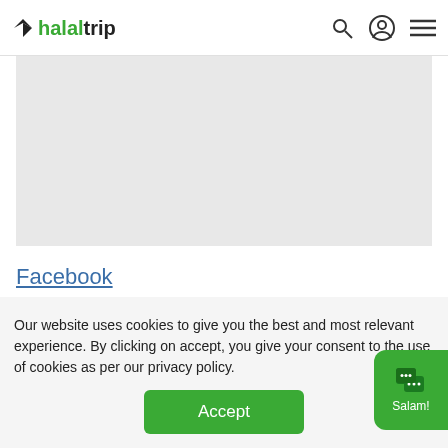halaltrip
[Figure (map): Gray map area placeholder]
Facebook
Our website uses cookies to give you the best and most relevant experience. By clicking on accept, you give your consent to the use of cookies as per our privacy policy.
Accept
[Figure (other): Green chat bubble with 'Salam!' text and chat icon]